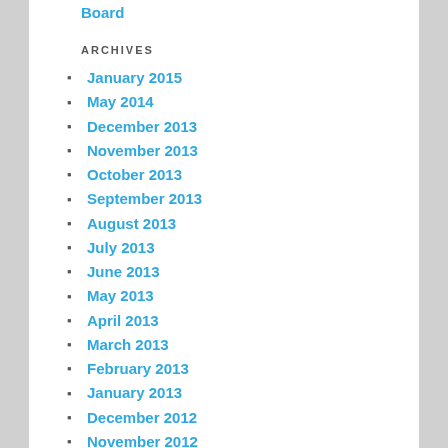Board
ARCHIVES
January 2015
May 2014
December 2013
November 2013
October 2013
September 2013
August 2013
July 2013
June 2013
May 2013
April 2013
March 2013
February 2013
January 2013
December 2012
November 2012
August 2012